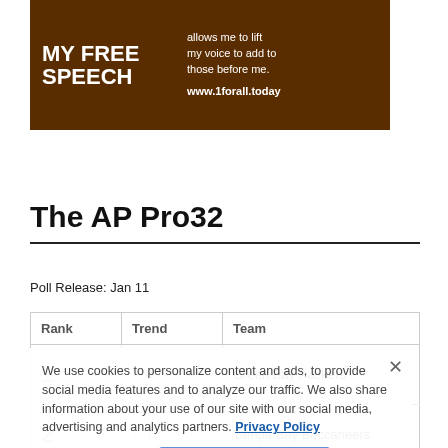[Figure (illustration): Advertisement banner with dark brown background showing text 'MY FREE SPEECH allows me to lift my voice to add to those before me. www.1forall.today']
The AP Pro32
Poll Release: Jan 11
| Rank | Trend | Team |
| --- | --- | --- |
| 1 |  | Green Bay Packers |
| 2 |  | Tampa Bay Buccaneers |
| 3 |  | Kansas City Chiefs |
We use cookies to personalize content and ads, to provide social media features and to analyze our traffic. We also share information about your use of our site with our social media, advertising and analytics partners. Privacy Policy
Cookies Settings  Accept All Cookies